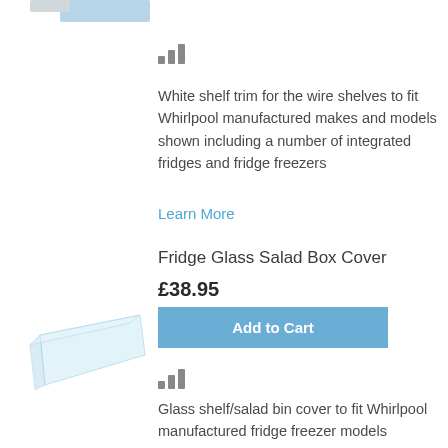[Figure (photo): Partial product image at top (wire shelf trim part, cut off at top)]
[Figure (other): Bar/chart icon (signal bars icon)]
White shelf trim for the wire shelves to fit Whirlpool manufactured makes and models shown including a number of integrated fridges and fridge freezers
Learn More
Fridge Glass Salad Box Cover
£38.95
[Figure (photo): Product image of a glass shelf/salad box cover, light blue tinted glass panel]
Add to Cart
[Figure (other): Bar/chart icon (signal bars icon)]
Glass shelf/salad bin cover to fit Whirlpool manufactured fridge freezer models including some integrated models
Learn More